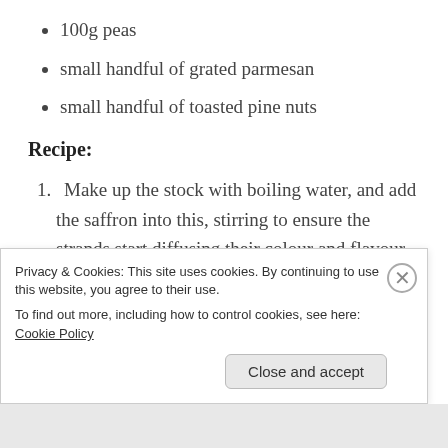100g peas
small handful of grated parmesan
small handful of toasted pine nuts
Recipe:
Make up the stock with boiling water, and add the saffron into this, stirring to ensure the strands start diffusing their colour and flavour.
Whilst heating some olive oil in a medium sized pan, finely slice the spring onions. Add
Privacy & Cookies: This site uses cookies. By continuing to use this website, you agree to their use.
To find out more, including how to control cookies, see here: Cookie Policy
Close and accept